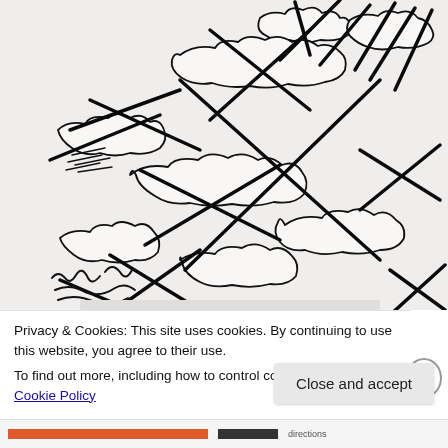[Figure (illustration): A photograph of a hand-drawn ink illustration on paper showing clouds and bold diagonal crossing lines (like large X marks), with loose gestural scribbles. The drawing style is expressive and cartoon-like, with layered cloud forms and overlapping angled strokes creating a dynamic composition. The paper appears to be curling slightly at the bottom edge.]
Privacy & Cookies: This site uses cookies. By continuing to use this website, you agree to their use.
To find out more, including how to control cookies, see here: Cookie Policy
Close and accept